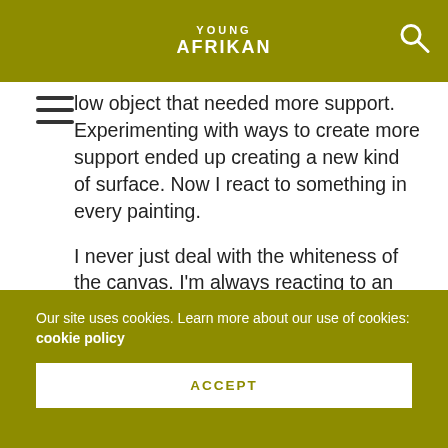YOUNG AFRIKAN
low object that needed more support. Experimenting with ways to create more support ended up creating a new kind of surface. Now I react to something in every painting.

I never just deal with the whiteness of the canvas. I’m always reacting to an embedded history in the work. There are about ten layers on every surface. It has become quite a process, even though it’s not something I purposely set out to do.
Our site uses cookies. Learn more about our use of cookies: cookie policy
ACCEPT